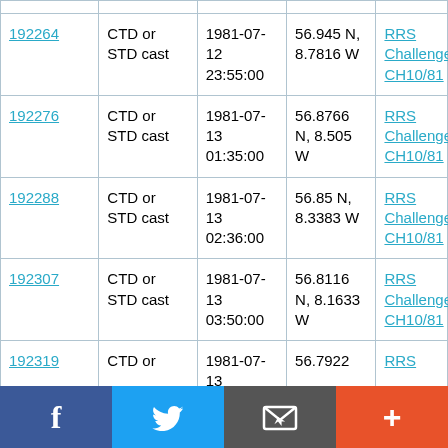| 192264 | CTD or STD cast | 1981-07-12 23:55:00 | 56.945 N, 8.7816 W | RRS Challenger CH10/81 |
| 192276 | CTD or STD cast | 1981-07-13 01:35:00 | 56.8766 N, 8.505 W | RRS Challenger CH10/81 |
| 192288 | CTD or STD cast | 1981-07-13 02:36:00 | 56.85 N, 8.3383 W | RRS Challenger CH10/81 |
| 192307 | CTD or STD cast | 1981-07-13 03:50:00 | 56.8116 N, 8.1633 W | RRS Challenger CH10/81 |
| 192319 | CTD or | 1981-07-13 | 56.7922 | RRS |